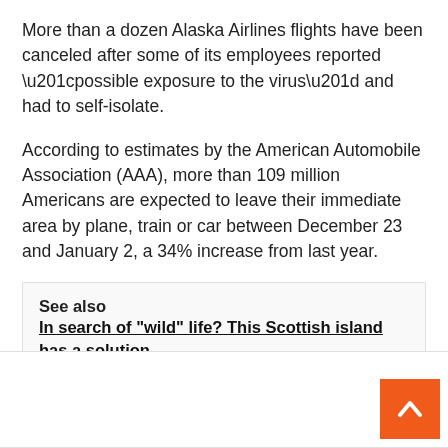More than a dozen Alaska Airlines flights have been canceled after some of its employees reported “possible exposure to the virus” and had to self-isolate.
According to estimates by the American Automobile Association (AAA), more than 109 million Americans are expected to leave their immediate area by plane, train or car between December 23 and January 2, a 34% increase from last year.
See also  In search of "wild" life? This Scottish island has a solution
[Figure (other): Scroll-to-top button (orange square with upward chevron arrow) in bottom-right corner of page]